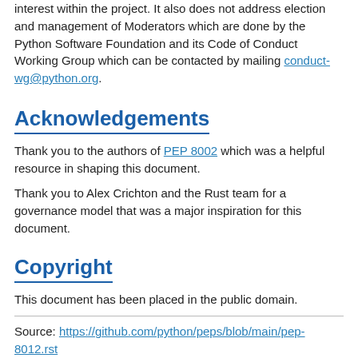interest within the project. It also does not address election and management of Moderators which are done by the Python Software Foundation and its Code of Conduct Working Group which can be contacted by mailing conduct-wg@python.org.
Acknowledgements
Thank you to the authors of PEP 8002 which was a helpful resource in shaping this document.
Thank you to Alex Crichton and the Rust team for a governance model that was a major inspiration for this document.
Copyright
This document has been placed in the public domain.
Source: https://github.com/python/peps/blob/main/pep-8012.rst
Last modified: 2022-01-21 11:03:51 GMT